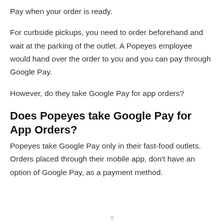Pay when your order is ready.
For curbside pickups, you need to order beforehand and wait at the parking of the outlet. A Popeyes employee would hand over the order to you and you can pay through Google Pay.
However, do they take Google Pay for app orders?
Does Popeyes take Google Pay for App Orders?
Popeyes take Google Pay only in their fast-food outlets. Orders placed through their mobile app, don’t have an option of Google Pay, as a payment method.
x